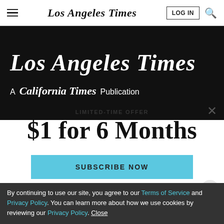Los Angeles Times — LOG IN
[Figure (screenshot): Los Angeles Times masthead on black background with 'A California Times Publication' subtitle]
LIMITED-TIME OFFER
$1 for 6 Months
SUBSCRIBE NOW
By continuing to use our site, you agree to our Terms of Service and Privacy Policy. You can learn more about how we use cookies by reviewing our Privacy Policy. Close